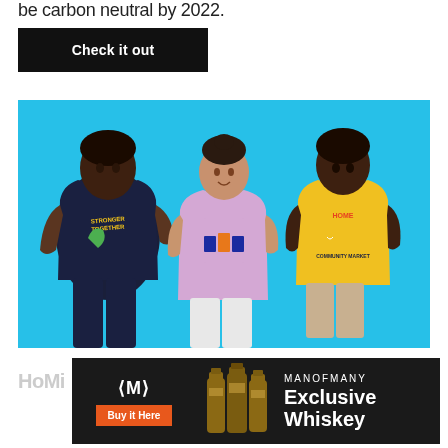be carbon neutral by 2022.
[Figure (other): Black button with white bold text reading 'Check it out']
[Figure (photo): Three people wearing graphic t-shirts against a bright cyan/blue background. Left: man in dark navy t-shirt with 'Stronger Together' dinosaur graphic. Center: woman in lavender t-shirt with cartoon basketball players graphic. Right: man in yellow t-shirt with 'Home Community Market' fruit characters graphic.]
HoMi
[Figure (infographic): Advertisement banner for Man of Many Exclusive Whiskey. Dark background with logo, whiskey bottles, and orange 'Buy it Here' button.]